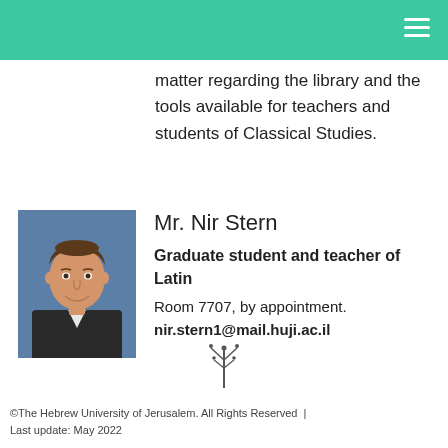matter regarding the library and the tools available for teachers and students of Classical Studies.
Mr. Nir Stern
Graduate student and teacher of Latin
Room 7707, by appointment.
nir.stern1@mail.huji.ac.il
[Figure (photo): Portrait photo of Mr. Nir Stern, a young man smiling, wearing a suit, with a blue background]
©The Hebrew University of Jerusalem. All Rights Reserved | Last update: May 2022